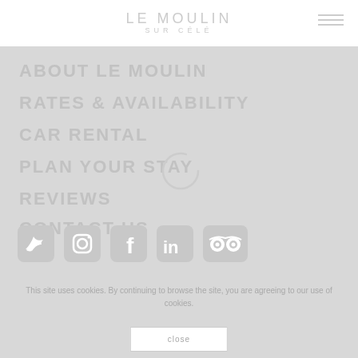LE MOULIN SUR CELE
ABOUT LE MOULIN
RATES & AVAILABILITY
CAR RENTAL
PLAN YOUR STAY
REVIEWS
CONTACT US
[Figure (illustration): Social media icons: Twitter, Instagram, Facebook, LinkedIn, TripAdvisor — all white on grey background]
[Figure (illustration): Loading spinner circle (partially drawn arc)]
This site uses cookies. By continuing to browse the site, you are agreeing to our use of cookies.
close